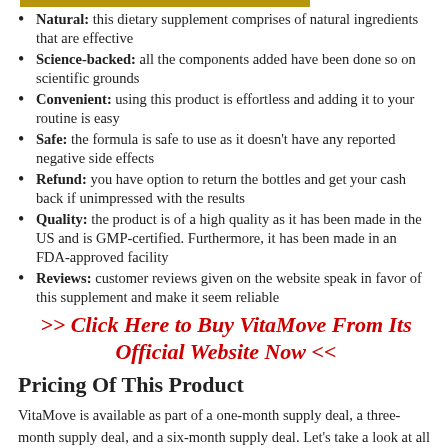Natural: this dietary supplement comprises of natural ingredients that are effective
Science-backed: all the components added have been done so on scientific grounds
Convenient: using this product is effortless and adding it to your routine is easy
Safe: the formula is safe to use as it doesn’t have any reported negative side effects
Refund: you have option to return the bottles and get your cash back if unimpressed with the results
Quality: the product is of a high quality as it has been made in the US and is GMP-certified. Furthermore, it has been made in an FDA-approved facility
Reviews: customer reviews given on the website speak in favor of this supplement and make it seem reliable
>> Click Here to Buy VitaMove From Its Official Website Now <<
Pricing Of This Product
VitaMove is available as part of a one-month supply deal, a three-month supply deal, and a six-month supply deal. Let’s take a look at all three